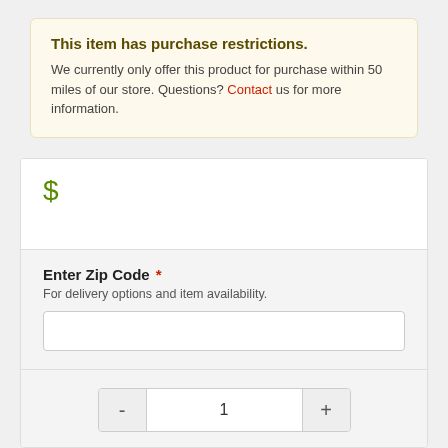This item has purchase restrictions.
We currently only offer this product for purchase within 50 miles of our store. Questions? Contact us for more information.
$
Enter Zip Code *
For delivery options and item availability.
- 1 +
Request Information